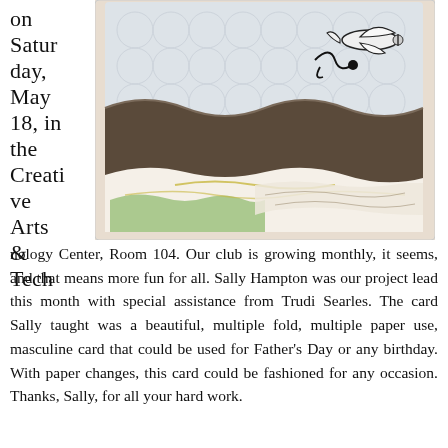on Saturday, May 18, in the Creative Arts & Technology Center, Room 104. Our club is growing monthly, it seems, and that means more fun for all. Sally Hampton was our project lead this month with special assistance from Trudi Searles. The card Sally taught was a beautiful, multiple fold, multiple paper use, masculine card that could be used for Father's Day or any birthday. With paper changes, this card could be fashioned for any occasion. Thanks, Sally, for all your hard work.
[Figure (photo): A decorative pop-up or multiple-fold card with wave-shaped layers. The card features a dark brown/taupe wavy panel, a patterned background with circular motifs and a hand-drawn airplane/bird illustration at the top, and a lower panel with colorful map or nature imagery in green and white tones. The card is displayed standing on a light surface.]